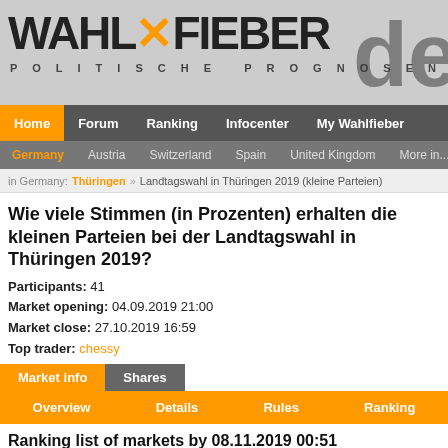[Figure (logo): WAHLFIEBER logo with orange X, subtitle POLITISCHE PROGNOSEN, and partial 'de' text on right]
Home | Forum | Ranking | Infocenter | My Wahlfieber
Germany | Austria | Switzerland | Spain | United Kingdom | More in...
in Germany: Thüringen » Landtagswahl in Thüringen 2019 (kleine Parteien)
Wie viele Stimmen (in Prozenten) erhalten die kleinen Parteien bei der Landtagswahl in Thüringen 2019?
Participants: 41
Market opening: 04.09.2019 21:00
Market close: 27.10.2019 16:59
Top trader: chessy
Market info | Shares
Overview | Details | Rules | Ranking
Ranking list of markets by 08.11.2019 00:51
The ranking is calculated daily at 00:00, 12:00 and 18:00 UTC. Next calculation at: -
1 - 25 by 41